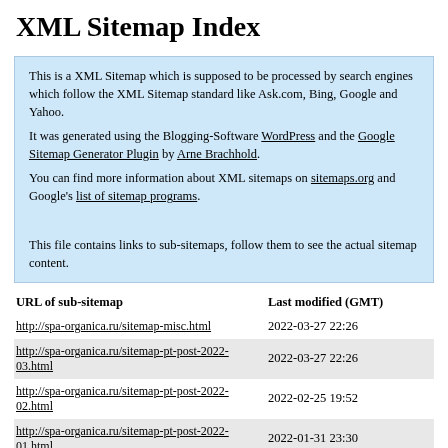XML Sitemap Index
This is a XML Sitemap which is supposed to be processed by search engines which follow the XML Sitemap standard like Ask.com, Bing, Google and Yahoo.
It was generated using the Blogging-Software WordPress and the Google Sitemap Generator Plugin by Arne Brachhold.
You can find more information about XML sitemaps on sitemaps.org and Google's list of sitemap programs.

This file contains links to sub-sitemaps, follow them to see the actual sitemap content.
| URL of sub-sitemap | Last modified (GMT) |
| --- | --- |
| http://spa-organica.ru/sitemap-misc.html | 2022-03-27 22:26 |
| http://spa-organica.ru/sitemap-pt-post-2022-03.html | 2022-03-27 22:26 |
| http://spa-organica.ru/sitemap-pt-post-2022-02.html | 2022-02-25 19:52 |
| http://spa-organica.ru/sitemap-pt-post-2022-01.html | 2022-01-31 23:30 |
| http://spa-organica.ru/sitemap-pt-post-2021-12.html | 2021-12-29 14:36 |
| http://spa-organica.ru/sitemap-pt-post-2021-11.html | 2021-11-30 08:37 |